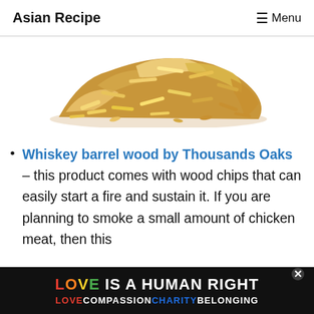Asian Recipe   ☰ Menu
[Figure (photo): Pile of wood chips / shavings on a white background, cropped at top]
Whiskey barrel wood by Thousands Oaks – this product comes with wood chips that can easily start a fire and sustain it. If you are planning to smoke a small amount of chicken meat, then this
LOVE IS A HUMAN RIGHT  LOVECOMPASSIONCHARITYBELONGING